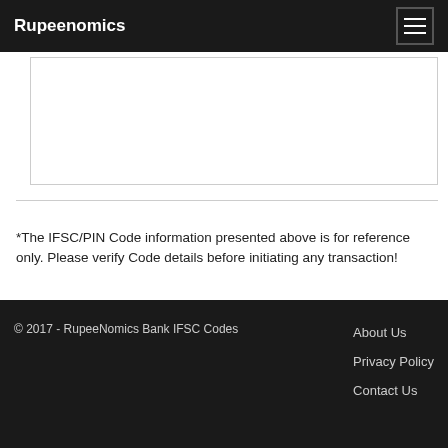Rupeenomics
[Figure (other): White content box with border, partially visible at top of page]
*The IFSC/PIN Code information presented above is for reference only. Please verify Code details before initiating any transaction!
© 2017 - RupeeNomics Bank IFSC Codes
About Us
Privacy Policy
Contact Us